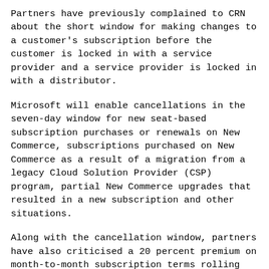Partners have previously complained to CRN about the short window for making changes to a customer's subscription before the customer is locked in with a service provider and a service provider is locked in with a distributor.
Microsoft will enable cancellations in the seven-day window for new seat-based subscription purchases or renewals on New Commerce, subscriptions purchased on New Commerce as a result of a migration from a legacy Cloud Solution Provider (CSP) program, partial New Commerce upgrades that resulted in a new subscription and other situations.
Along with the cancellation window, partners have also criticised a 20 percent premium on month-to-month subscription terms rolling out as part of New Commerce Experience. That monthly premium is on top of an overall price increase Microsoft announced for M365 and other popular packages.
Partners have criticised the monthly premium for